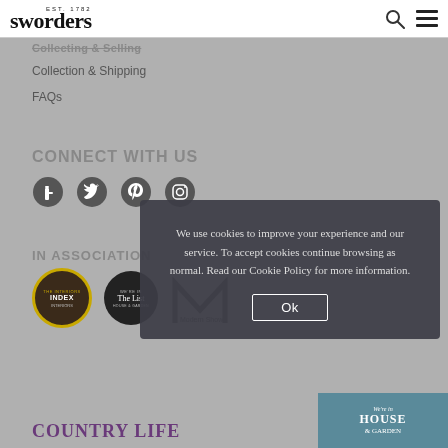sworders EST. 1782
Collection & Shipping
FAQs
CONNECT WITH US
[Figure (illustration): Social media icons: Facebook, Twitter, Pinterest, Instagram]
IN ASSOCIATION
[Figure (logo): The Interiors Index logo circle with yellow border]
[Figure (logo): The List House & Garden logo circle black background]
[Figure (logo): Modern Shows M logo]
We use cookies to improve your experience and our service. To accept cookies continue browsing as normal. Read our Cookie Policy for more information.
Ok
COUNTRY LIFE
[Figure (screenshot): We're in HOUSE & GARDEN banner image bottom right]